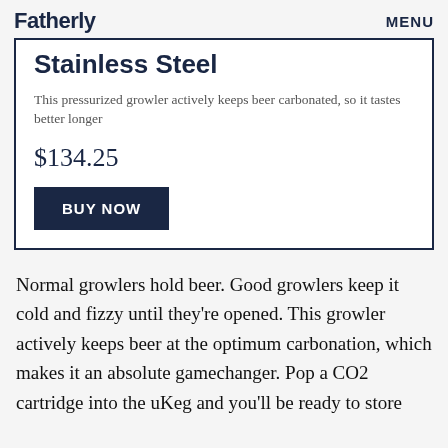Fatherly  MENU
GrowlerWerks uKeg Pressurized Growler, 64 oz, Stainless Steel
This pressurized growler actively keeps beer carbonated, so it tastes better longer
$134.25
BUY NOW
Normal growlers hold beer. Good growlers keep it cold and fizzy until they're opened. This growler actively keeps beer at the optimum carbonation, which makes it an absolute gamechanger. Pop a CO2 cartridge into the uKeg and you'll be ready to store